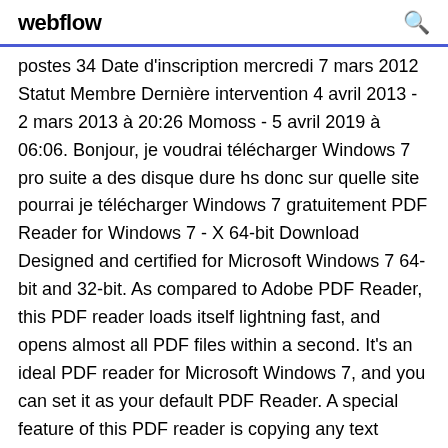webflow
postes 34 Date d'inscription mercredi 7 mars 2012 Statut Membre Dernière intervention 4 avril 2013 - 2 mars 2013 à 20:26 Momoss - 5 avril 2019 à 06:06. Bonjour, je voudrai télécharger Windows 7 pro suite a des disque dure hs donc sur quelle site pourrai je télécharger Windows 7 gratuitement PDF Reader for Windows 7 - X 64-bit Download Designed and certified for Microsoft Windows 7 64-bit and 32-bit. As compared to Adobe PDF Reader, this PDF reader loads itself lightning fast, and opens almost all PDF files within a second. It's an ideal PDF reader for Microsoft Windows 7, and you can set it as your default PDF Reader. A special feature of this PDF reader is copying any text